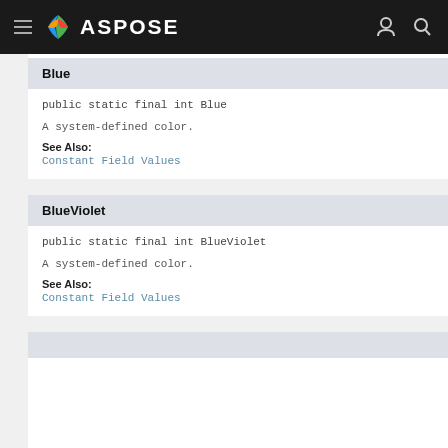ASPOSE
Blue
public static final int Blue
A system-defined color.
See Also:
Constant Field Values
BlueViolet
public static final int BlueViolet
A system-defined color.
See Also:
Constant Field Values